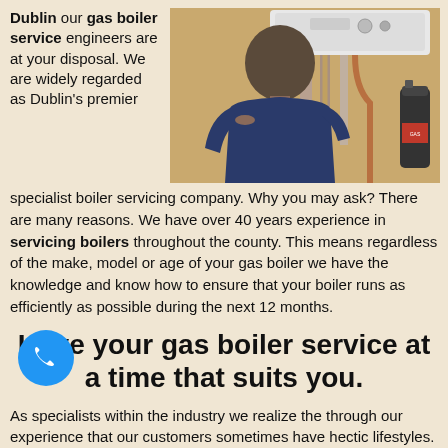Dublin our gas boiler service engineers are at your disposal. We are widely regarded as Dublin's premier specialist boiler servicing company. Why you may ask? There are many reasons. We have over 40 years experience in servicing boilers throughout the county. This means regardless of the make, model or age of your gas boiler we have the knowledge and know how to ensure that your boiler runs as efficiently as possible during the next 12 months.
[Figure (photo): A man in a dark blue shirt working on a gas boiler installation, viewed from behind, with pipes and equipment visible]
Have your gas boiler service at a time that suits you.
As specialists within the industry we realize the through our experience that our customers sometimes have hectic lifestyles. That's why we operate 7 days a week and in the evenings. This means when you need your annual gas boiler service we can